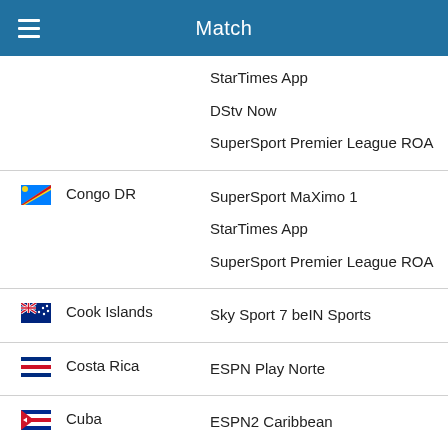Match
|  | Country | Channels |
| --- | --- | --- |
|  |  | StarTimes App
DStv Now
SuperSport Premier League ROA |
| Congo DR flag | Congo DR | SuperSport MaXimo 1
StarTimes App
SuperSport Premier League ROA |
| Cook Islands flag | Cook Islands | Sky Sport 7 beIN Sports |
| Costa Rica flag | Costa Rica | ESPN Play Norte |
| Cuba flag | Cuba | ESPN2 Caribbean
ESPNPlay Caribbean |
| Cyprus flag | Cyprus | Cytavision on the Go
Cytavision Sports 4 |
| Czech Republic flag | Czech Republic | Digi Sport 3
DIGICO |